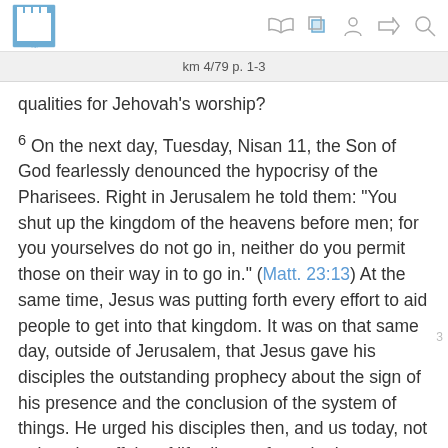km 4/79 p. 1-3
qualities for Jehovah's worship?
6 On the next day, Tuesday, Nisan 11, the Son of God fearlessly denounced the hypocrisy of the Pharisees. Right in Jerusalem he told them: “You shut up the kingdom of the heavens before men; for you yourselves do not go in, neither do you permit those on their way in to go in.” (Matt. 23:13) At the same time, Jesus was putting forth every effort to aid people to get into that kingdom. It was on that same day, outside of Jerusalem, that Jesus gave his disciples the outstanding prophecy about the sign of his presence and the conclusion of the system of things. He urged his disciples then, and us today, not to let other affairs of life distract from the importance of